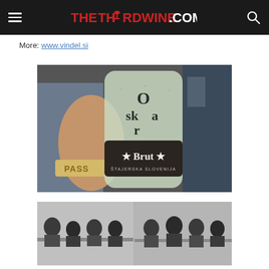THETHIRDWINE.COM
More: www.vindel.si
[Figure (photo): Close-up photo of a sparkling wine bottle labeled 'Oskar Brut, Štajerska Slovenija', held by a hand with a wristband reading 'PASS' at what appears to be a wine event.]
[Figure (photo): Black and white photo of a group of people seated at tables at a wine tasting or seminar event.]